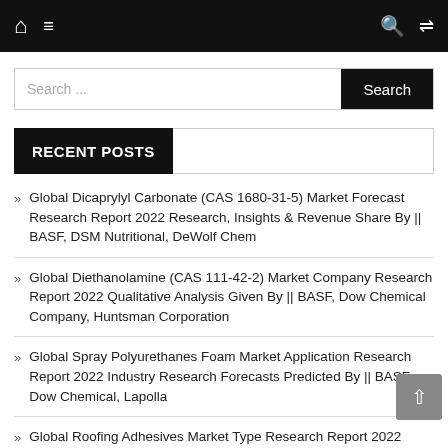Navigation bar with home, menu, search, and shuffle icons
Search ...
RECENT POSTS
Global Dicaprylyl Carbonate (CAS 1680-31-5) Market Forecast Research Report 2022 Research, Insights & Revenue Share By || BASF, DSM Nutritional, DeWolf Chem
Global Diethanolamine (CAS 111-42-2) Market Company Research Report 2022 Qualitative Analysis Given By || BASF, Dow Chemical Company, Huntsman Corporation
Global Spray Polyurethanes Foam Market Application Research Report 2022 Industry Research Forecasts Predicted By || BASF, Dow Chemical, Lapolla
Global Roofing Adhesives Market Type Research Report 2022